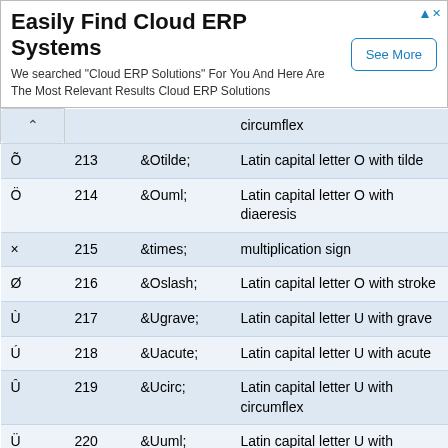[Figure (other): Advertisement banner: 'Easily Find Cloud ERP Systems' with 'See More' button]
| Char | Dec | Entity | Description |
| --- | --- | --- | --- |
|  |  |  | circumflex |
| Õ | 213 | &Otilde; | Latin capital letter O with tilde |
| Ö | 214 | &Ouml; | Latin capital letter O with diaeresis |
| × | 215 | &times; | multiplication sign |
| Ø | 216 | &Oslash; | Latin capital letter O with stroke |
| Ù | 217 | &Ugrave; | Latin capital letter U with grave |
| Ú | 218 | &Uacute; | Latin capital letter U with acute |
| Û | 219 | &Ucirc; | Latin capital letter U with circumflex |
| Ü | 220 | &Uuml; | Latin capital letter U with diaeresis |
| Ý | 221 | &Yacute; | Latin capital letter Y with acute |